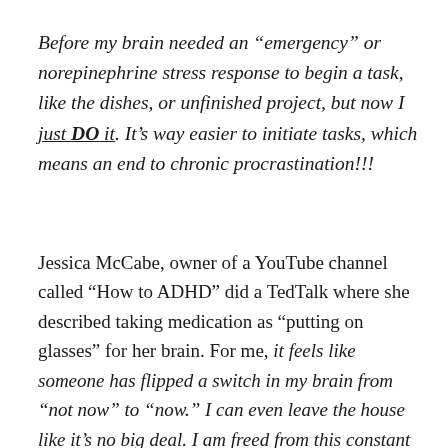Before my brain needed an “emergency” or norepinephrine stress response to begin a task, like the dishes, or unfinished project, but now I just DO it. It’s way easier to initiate tasks, which means an end to chronic procrastination!!!
Jessica McCabe, owner of a YouTube channel called “How to ADHD” did a TedTalk where she described taking medication as “putting on glasses” for her brain. For me, it feels like someone has flipped a switch in my brain from “not now” to “now.” I can even leave the house like it’s no big deal. I am freed from this constant craving in my brain to seek some sort of stimulation. I feel more power, control, and a sense of freedom & ability...